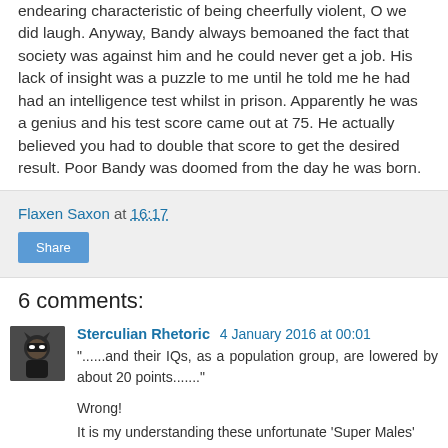endearing characteristic of being cheerfully violent, O we did laugh. Anyway, Bandy always bemoaned the fact that society was against him and he could never get a job. His lack of insight was a puzzle to me until he told me he had had an intelligence test whilst in prison. Apparently he was a genius and his test score came out at 75. He actually believed you had to double that score to get the desired result. Poor Bandy was doomed from the day he was born.
Flaxen Saxon at 16:17
Share
6 comments:
Sterculian Rhetoric 4 January 2016 at 00:01
"......and their IQs, as a population group, are lowered by about 20 points......."
Wrong!
It is my understanding these unfortunate 'Super Males'